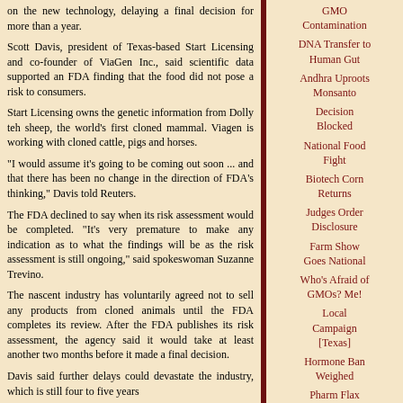on the new technology, delaying a final decision for more than a year.
Scott Davis, president of Texas-based Start Licensing and co-founder of ViaGen Inc., said scientific data supported an FDA finding that the food did not pose a risk to consumers.
Start Licensing owns the genetic information from Dolly teh sheep, the world's first cloned mammal. Viagen is working with cloned cattle, pigs and horses.
"I would assume it's going to be coming out soon ... and that there has been no change in the direction of FDA's thinking," Davis told Reuters.
The FDA declined to say when its risk assessment would be completed. "It's very premature to make any indication as to what the findings will be as the risk assessment is still ongoing," said spokeswoman Suzanne Trevino.
The nascent industry has voluntarily agreed not to sell any products from cloned animals until the FDA completes its review. After the FDA publishes its risk assessment, the agency said it would take at least another two months before it made a final decision.
Davis said further delays could devastate the industry, which is still four to five years
GMO Contamination
DNA Transfer to Human Gut
Andhra Uproots Monsanto
Decision Blocked
National Food Fight
Biotech Corn Returns
Judges Order Disclosure
Farm Show Goes National
Who's Afraid of GMOs? Me!
Local Campaign [Texas]
Hormone Ban Weighed
Pharm Flax Opposed
WTO Decision Delayed
Right to Ban